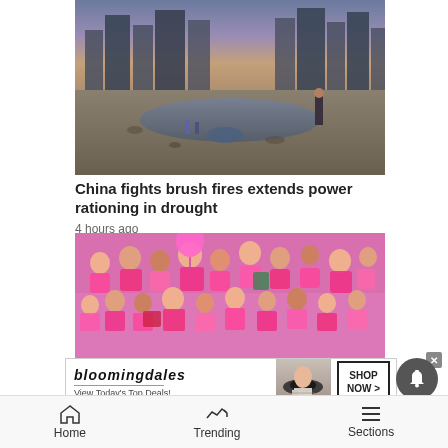[Figure (photo): A person standing at the edge of a nearly dry riverbed at dusk with city skyscrapers in background]
China fights brush fires extends power rationing in drought
4 hours ago
[Figure (photo): Large crowd of people mostly dressed in pink at an outdoor event]
[Figure (photo): Bloomingdale's advertisement: View Today's Top Deals! SHOP NOW >]
Home | Trending | Sections